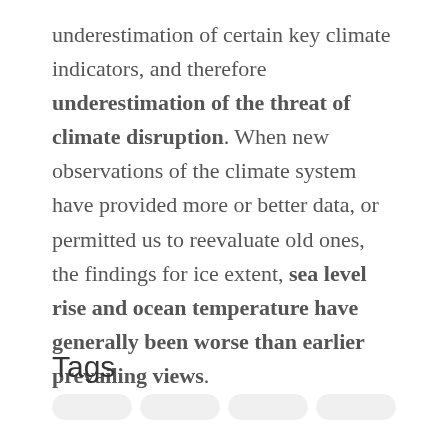underestimation of certain key climate indicators, and therefore underestimation of the threat of climate disruption. When new observations of the climate system have provided more or better data, or permitted us to reevaluate old ones, the findings for ice extent, sea level rise and ocean temperature have generally been worse than earlier prevailing views.
Tags